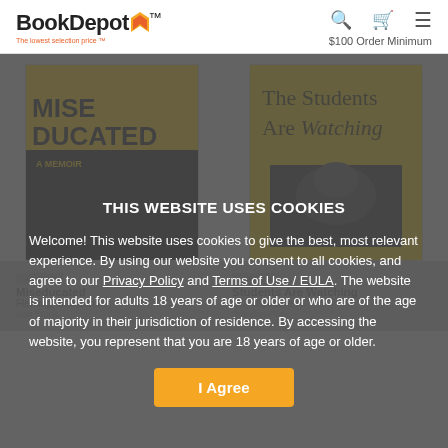BookDepot. The lowest selection price. | $100 Order Minimum
[Figure (screenshot): Screenshot of BookDepot website showing two book covers: 'Miseducated: A Memoir' (yellow background, bold black text) and 'The Students Are Watching' (yellow background, serif text), partially obscured by a cookie consent overlay modal.]
THIS WEBSITE USES COOKIES
Welcome! This website uses cookies to give the best, most relevant experience. By using our website you consent to all cookies, and agree to our Privacy Policy and Terms of Use / EULA. The website is intended for adults 18 years of age or older or who are of the age of majority in their jurisdiction of residence. By accessing the website, you represent that you are 18 years of age or older.
I Agree
Miseducated
Fleming, Brandon P.
Low Stock
Students Are Watching
Dr., Theodore R.
Brandon-Prev